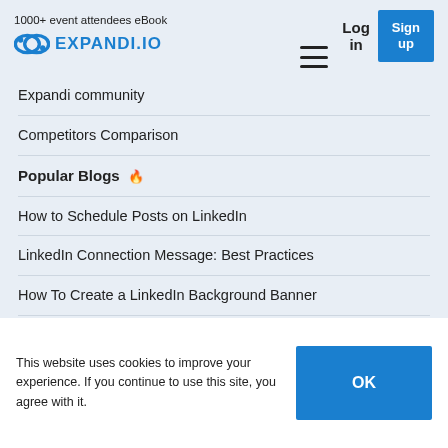1000+ event attendees eBook  EXPANDI.IO  Log in  Sign up
Expandi community
Competitors Comparison
Popular Blogs 🔥
How to Schedule Posts on LinkedIn
LinkedIn Connection Message: Best Practices
How To Create a LinkedIn Background Banner
Cold Email vs Cold Call
This website uses cookies to improve your experience. If you continue to use this site, you agree with it.